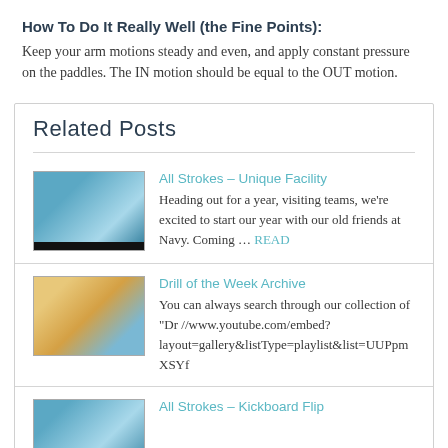How To Do It Really Well (the Fine Points):
Keep your arm motions steady and even, and apply constant pressure on the paddles. The IN motion should be equal to the OUT motion.
Related Posts
[Figure (photo): Thumbnail image of swimming pool or water sport facility for 'All Strokes – Unique Facility' post]
All Strokes – Unique Facility
Heading out for a year, visiting teams, we're excited to start our year with our old friends at Navy.  Coming ... READ
[Figure (photo): Thumbnail image for 'Drill of the Week Archive' post]
Drill of the Week Archive
You can always search through our collection of "Dr //www.youtube.com/embed? layout=gallery&listType=playlist&list=UUPpmXSYf
[Figure (photo): Thumbnail image for 'All Strokes – Kickboard Flip' post]
All Strokes – Kickboard Flip